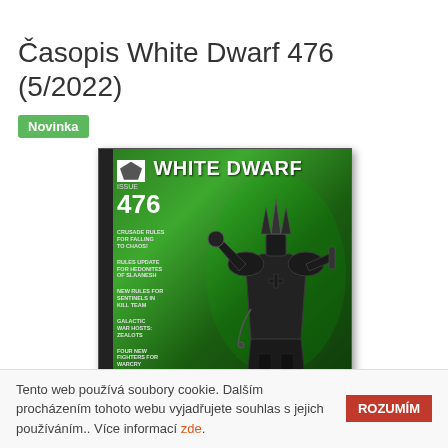Časopis White Dwarf 476 (5/2022)
Novinka
[Figure (photo): Magazine cover of White Dwarf Issue 476 showing a dark armored warrior figure on a green background with text: CRUSADE RULES FOR FALLING TO CHAOS!, RULES UPDATE FOR HEDONITES OF SLAANESH, NEW RULES FOR SENTINELS IN KILL TEAM, GALACTIC WAR HOSTS: ZEALOTS, FOUR NEW FIGHTERS FOR WARCRY]
Tento web používá soubory cookie. Dalším procházením tohoto webu vyjadřujete souhlas s jejich používáním.. Více informací zde.
ROZUMÍM